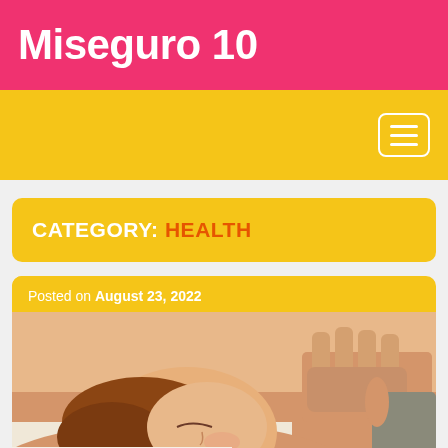Miseguro 10
[Figure (screenshot): Yellow navigation bar with hamburger menu icon in white on the right]
CATEGORY: HEALTH
Posted on August 23, 2022
[Figure (photo): Woman lying down receiving a facial massage, hands pressing on forehead, eyes closed, relaxed expression]